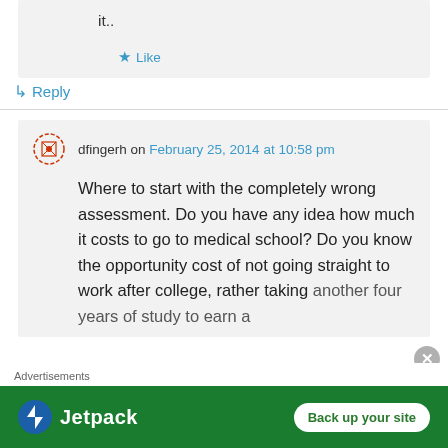it..
Like
Reply
dfingerh on February 25, 2014 at 10:58 pm
Where to start with the completely wrong assessment. Do you have any idea how much it costs to go to medical school? Do you know the opportunity cost of not going straight to work after college, rather taking another four years of study to earn a
Advertisements
[Figure (screenshot): Jetpack advertisement banner: green background with Jetpack logo on left and 'Back up your site' button on right]